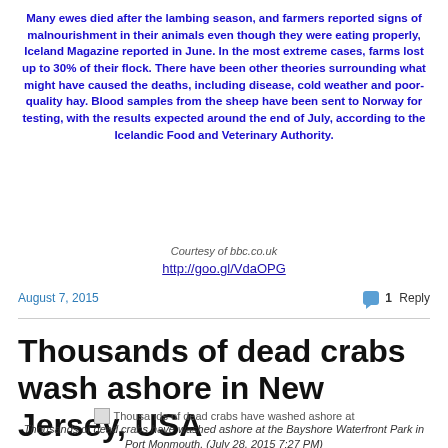Many ewes died after the lambing season, and farmers reported signs of malnourishment in their animals even though they were eating properly, Iceland Magazine reported in June. In the most extreme cases, farms lost up to 30% of their flock. There have been other theories surrounding what might have caused the deaths, including disease, cold weather and poor-quality hay. Blood samples from the sheep have been sent to Norway for testing, with the results expected around the end of July, according to the Icelandic Food and Veterinary Authority.
Courtesy of bbc.co.uk
http://goo.gl/VdaOPG
August 7, 2015
1 Reply
Thousands of dead crabs wash ashore in New Jersey, USA
[Figure (photo): Broken image icon with alt text: Thousands of dead crabs have washed ashore at]
Thousands of dead crabs have washed ashore at the Bayshore Waterfront Park in Port Monmouth. (July 28, 2015 7:27 PM)
Thousands of dead crabs have washed up at the Bayshore